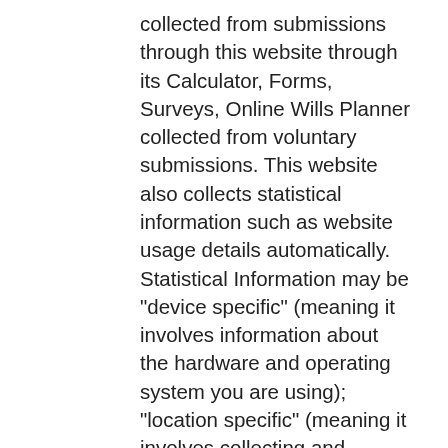collected from submissions through this website through its Calculator, Forms, Surveys, Online Wills Planner collected from voluntary submissions. This website also collects statistical information such as website usage details automatically. Statistical Information may be "device specific" (meaning it involves information about the hardware and operating system you are using); "location specific" (meaning it involves collecting and processing information specific to your location); "log specific" (meaning it involves information about your Internet Protocol (or IP) address and information about webpage visits such as dates, times, duration and referrals that initiated page visits as well as your registration and establishment of an OWP account); "enewsletter connected" (meaning Subscribing Organization has included your email address in an email distribution list